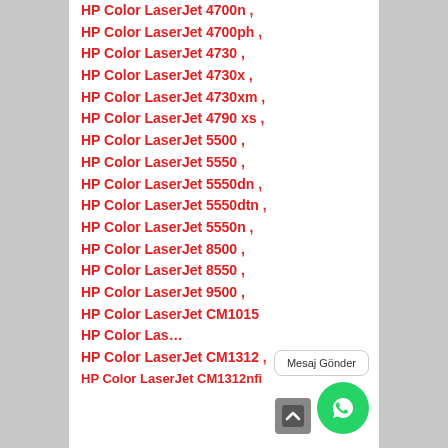HP Color LaserJet 4700n ,
HP Color LaserJet 4700ph ,
HP Color LaserJet 4730 ,
HP Color LaserJet 4730x ,
HP Color LaserJet 4730xm ,
HP Color LaserJet 4790 xs ,
HP Color LaserJet 5500 ,
HP Color LaserJet 5550 ,
HP Color LaserJet 5550dn ,
HP Color LaserJet 5550dtn ,
HP Color LaserJet 5550n ,
HP Color LaserJet 8500 ,
HP Color LaserJet 8550 ,
HP Color LaserJet 9500 ,
HP Color LaserJet CM1015 ,
HP Color LaserJet CM1017 ,
HP Color LaserJet CM1312 ,
HP Color LaserJet CM1312nfi ,